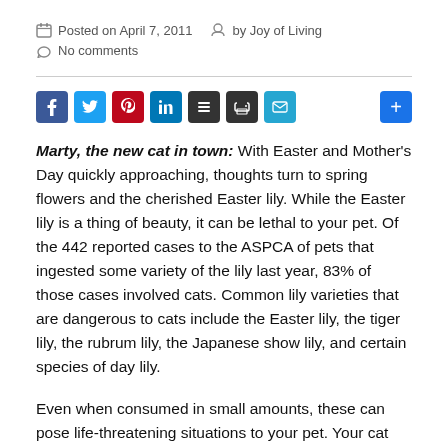Posted on April 7, 2011  by Joy of Living
No comments
[Figure (other): Social sharing buttons: Facebook, Twitter, Pinterest, LinkedIn, Buffer, Print, Email, and a plus button]
Marty, the new cat in town: With Easter and Mother's Day quickly approaching, thoughts turn to spring flowers and the cherished Easter lily. While the Easter lily is a thing of beauty, it can be lethal to your pet. Of the 442 reported cases to the ASPCA of pets that ingested some variety of the lily last year, 83% of those cases involved cats. Common lily varieties that are dangerous to cats include the Easter lily, the tiger lily, the rubrum lily, the Japanese show lily, and certain species of day lily.
Even when consumed in small amounts, these can pose life-threatening situations to your pet. Your cat may become lethargic, begin to vomit, or lose its appetite. Immediate